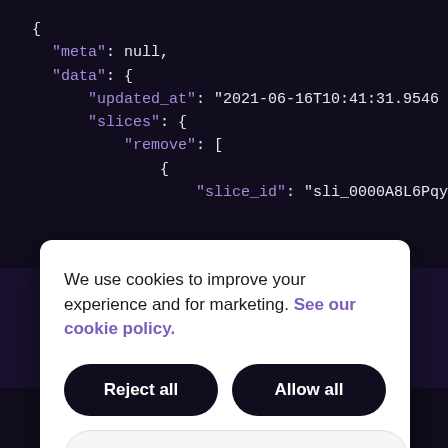[Figure (screenshot): Dark-themed code editor showing JSON with keys meta, data, updated_at, slices, remove, slice_id]
We use cookies to improve your experience and for marketing. See our cookie policy.
Reject all
Allow all
Manage cookies
[Figure (screenshot): Dark-themed code editor showing JSON with key order_change_offers]